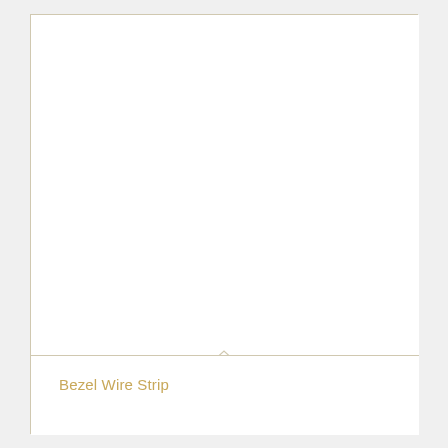[Figure (illustration): A product label or tag template with a large blank white main area at the top, a horizontal dividing line with a small upward-pointing notch/chevron at the center, and a bottom label strip containing the product name 'Bezel Wire Strip' in gold/tan colored text.]
Bezel Wire Strip